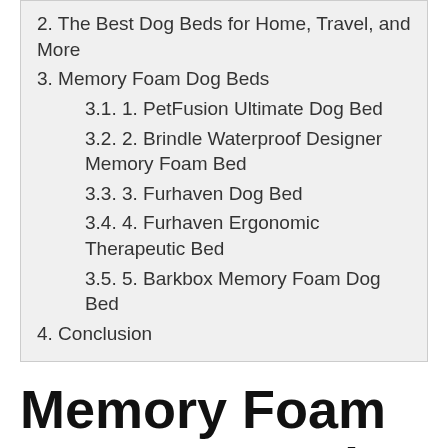2. The Best Dog Beds for Home, Travel, and More
3. Memory Foam Dog Beds
3.1. 1. PetFusion Ultimate Dog Bed
3.2. 2. Brindle Waterproof Designer Memory Foam Bed
3.3. 3. Furhaven Dog Bed
3.4. 4. Furhaven Ergonomic Therapeutic Bed
3.5. 5. Barkbox Memory Foam Dog Bed
4. Conclusion
Memory Foam Wrap Around Dog Bed with Fleece